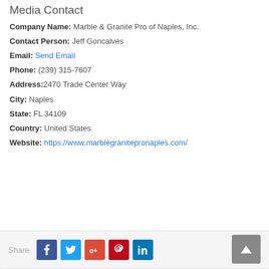Media Contact
Company Name: Marble & Granite Pro of Naples, Inc.
Contact Person: Jeff Goncalves
Email: Send Email
Phone: (239) 315-7607
Address: 2470 Trade Center Way
City: Naples
State: FL 34109
Country: United States
Website: https://www.marblegranitepronaples.com/
Share [Facebook] [Twitter] [Google+] [Pinterest] [LinkedIn]